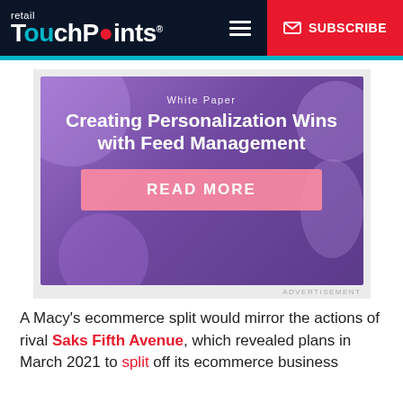retail TouchPoints — SUBSCRIBE
[Figure (illustration): Advertisement banner for a white paper titled 'Creating Personalization Wins with Feed Management' with a purple background and a pink READ MORE button]
ADVERTISEMENT
A Macy's ecommerce split would mirror the actions of rival Saks Fifth Avenue, which revealed plans in March 2021 to split off its ecommerce business